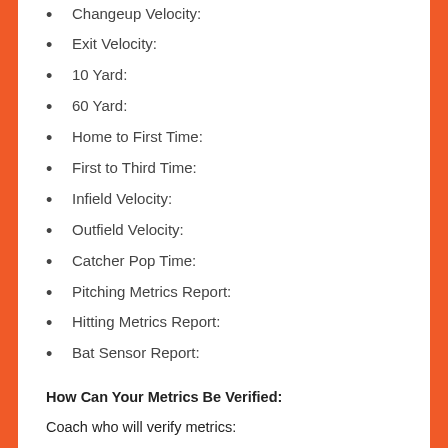Changeup Velocity:
Exit Velocity:
10 Yard:
60 Yard:
Home to First Time:
First to Third Time:
Infield Velocity:
Outfield Velocity:
Catcher Pop Time:
Pitching Metrics Report:
Hitting Metrics Report:
Bat Sensor Report:
How Can Your Metrics Be Verified:
Coach who will verify metrics:
Showcase Video/ Game day / Training Videos
Download Video: Video